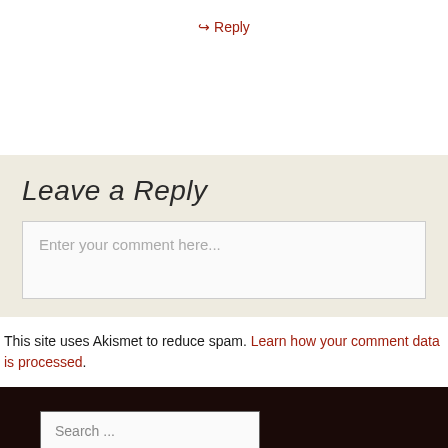↪ Reply
Leave a Reply
[Figure (screenshot): Comment text area input box with placeholder text 'Enter your comment here...']
This site uses Akismet to reduce spam. Learn how your comment data is processed.
[Figure (screenshot): Search input box with placeholder text 'Search ...' on dark footer background]